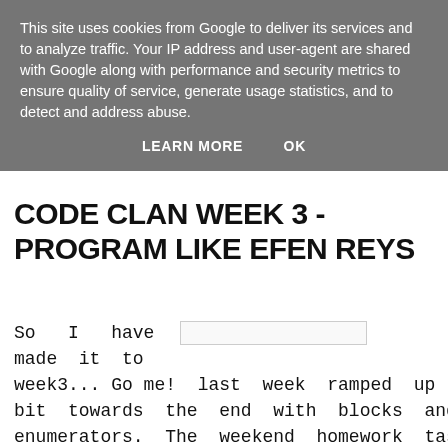This site uses cookies from Google to deliver its services and to analyze traffic. Your IP address and user-agent are shared with Google along with performance and security metrics to ensure quality of service, generate usage statistics, and to detect and address abuse.
LEARN MORE    OK
CODE CLAN WEEK 3 - PROGRAM LIKE EFEN REYS
So  I  have [input] made  it  to week3... Go me!  last  week  ramped  up  a bit  towards  the  end  with  blocks  and enumerators.  The  weekend  homework  task was  to  create  a  Karaoke  bar  which  was apt  as  I  was  lucky  to  be  staying  at  the Crieff  Hydro  for  the  weekend.  Sitting